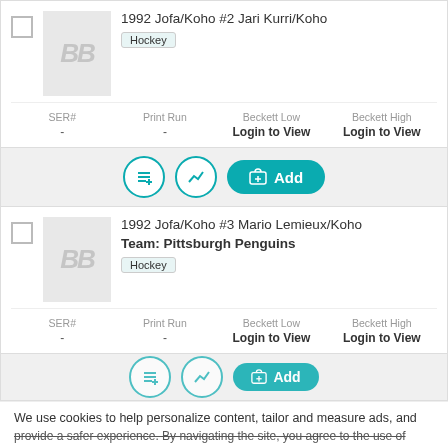1992 Jofa/Koho #2 Jari Kurri/Koho
Hockey
| SER# | Print Run | Beckett Low | Beckett High |
| --- | --- | --- | --- |
| - | - | Login to View | Login to View |
1992 Jofa/Koho #3 Mario Lemieux/Koho
Team: Pittsburgh Penguins
Hockey
| SER# | Print Run | Beckett Low | Beckett High |
| --- | --- | --- | --- |
| - | - | Login to View | Login to View |
We use cookies to help personalize content, tailor and measure ads, and provide a safer experience. By navigating the site, you agree to the use of cookies to collect information on and off Beckett. Learn more
Get Beckett on your mobile device.
Install App